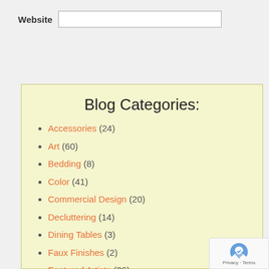Website
Post Comment
Blog Categories:
Accessories (24)
Art (60)
Bedding (8)
Color (41)
Commercial Design (20)
Decluttering (14)
Dining Tables (3)
Faux Finishes (2)
Featured Artists (26)
[Figure (logo): reCAPTCHA badge with Privacy and Terms links]